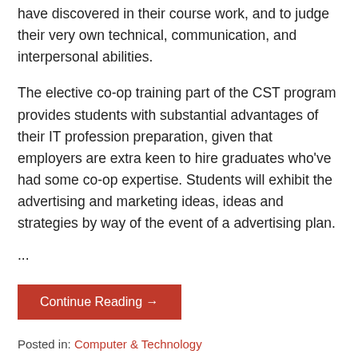have discovered in their course work, and to judge their very own technical, communication, and interpersonal abilities.
The elective co-op training part of the CST program provides students with substantial advantages of their IT profession preparation, given that employers are extra keen to hire graduates who've had some co-op expertise. Students will exhibit the advertising and marketing ideas, ideas and strategies by way of the event of a advertising plan.
...
Continue Reading →
Posted in: Computer & Technology
Filed under: computer, expertise, finest, levels, masters